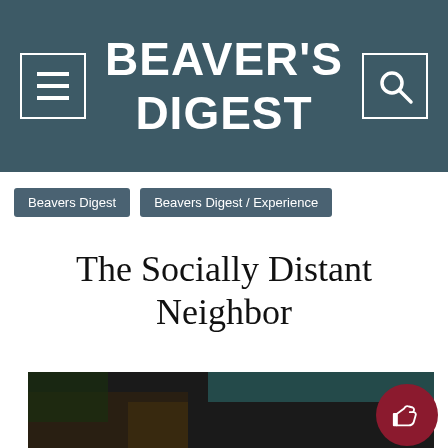BEAVER'S DIGEST
Beavers Digest  Beavers Digest / Experience
The Socially Distant Neighbor
[Figure (photo): Dark outdoor photo showing what appears to be a wooden structure or bench area with trees and a teal/green awning in the background]